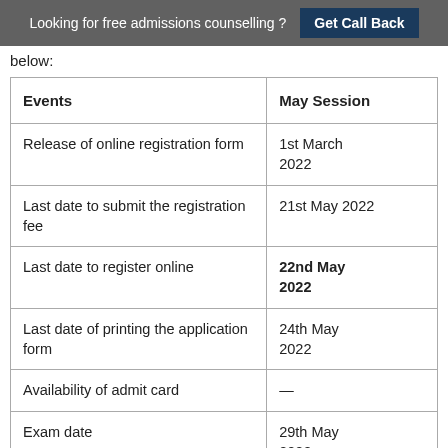Looking for free admissions counselling ? Get Call Back
below:
| Events | May Session |
| --- | --- |
| Release of online registration form | 1st March 2022 |
| Last date to submit the registration fee | 21st May 2022 |
| Last date to register online | 22nd May 2022 |
| Last date of printing the application form | 24th May 2022 |
| Availability of admit card | — |
| Exam date | 29th May 2022 |